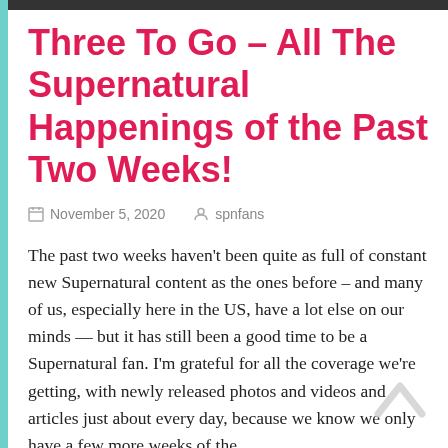Three To Go – All The Supernatural Happenings of the Past Two Weeks!
November 5, 2020   spnfans
The past two weeks haven't been quite as full of constant new Supernatural content as the ones before – and many of us, especially here in the US, have a lot else on our minds — but it has still been a good time to be a Supernatural fan. I'm grateful for all the coverage we're getting, with newly released photos and videos and articles just about every day, because we know we only have a few more weeks of the